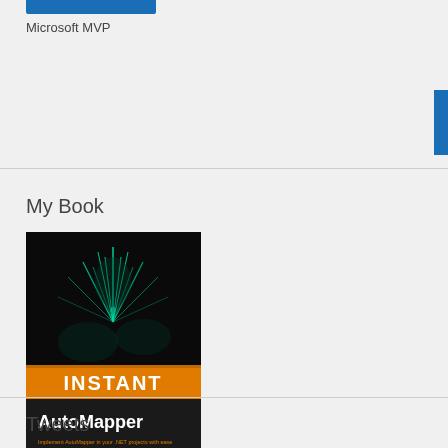Microsoft MVP
My Book
[Figure (illustration): Book cover for 'Instant AutoMapper' by Taswar Bhatti, published by Packt Publishing. Black background with a stylized green/teal plant/star burst illustration. Orange banner with white text 'INSTANT', subtitle 'Short | Fast | Focused'. Large white bold text 'AutoMapper'. Orange subtitle text 'Implement AutoMapper in your .NET projects with ease'. Bottom bar with author name 'Taswar Bhatti' and Packt logo.]
Tweets